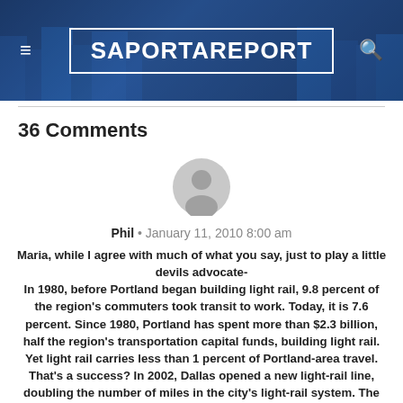SaportaReport
36 Comments
[Figure (illustration): Generic user avatar icon — grey circle with person silhouette]
Phil • January 11, 2010 8:00 am
Maria, while I agree with much of what you say, just to play a little devils advocate- In 1980, before Portland began building light rail, 9.8 percent of the region's commuters took transit to work. Today, it is 7.6 percent. Since 1980, Portland has spent more than $2.3 billion, half the region's transportation capital funds, building light rail. Yet light rail carries less than 1 percent of Portland-area travel. That's a success? In 2002, Dallas opened a new light-rail line, doubling the number of miles in the city's light-rail system. The new line attracted some rail riders, but the region lost more bus riders than it gained rail riders.